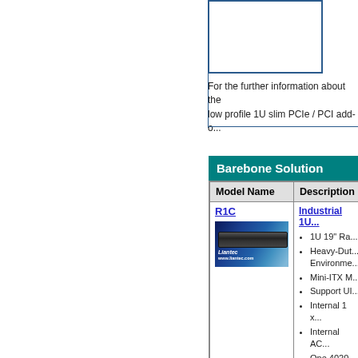[Figure (illustration): Blue bordered box (partially visible top portion of diagram or image panel)]
For the further information about the low profile 1U slim PCIe / PCI add-o...
Barebone Solution
| Model Name | Description |
| --- | --- |
| R1C | Industrial 1U...
• 1U 19" Ra...
• Heavy-Dut... Environme...
• Mini-ITX M...
• Support UI...
• Internal 1 x...
• Internal AC...
• One 4020... Removeab... |